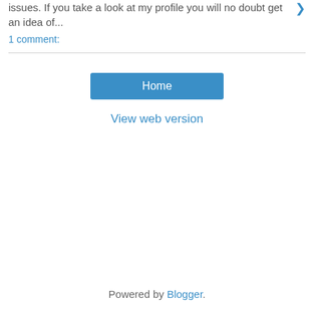issues. If you take a look at my profile you will no doubt get an idea of...
1 comment:
Home
View web version
Powered by Blogger.